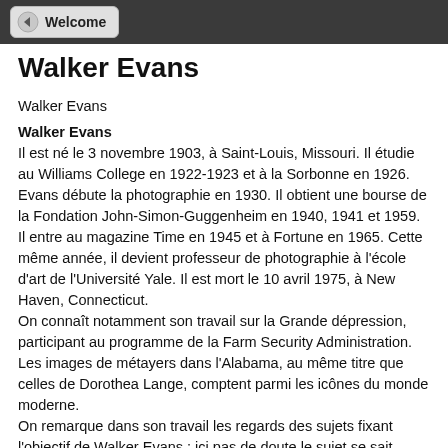Welcome
Walker Evans
Walker Evans
Walker Evans
Il est né le 3 novembre 1903, à Saint-Louis, Missouri. Il étudie au Williams College en 1922-1923 et à la Sorbonne en 1926. Evans débute la photographie en 1930. Il obtient une bourse de la Fondation John-Simon-Guggenheim en 1940, 1941 et 1959. Il entre au magazine Time en 1945 et à Fortune en 1965. Cette même année, il devient professeur de photographie à l'école d'art de l'Université Yale. Il est mort le 10 avril 1975, à New Haven, Connecticut.
On connaît notamment son travail sur la Grande dépression, participant au programme de la Farm Security Administration. Les images de métayers dans l'Alabama, au même titre que celles de Dorothea Lange, comptent parmi les icônes du monde moderne.
On remarque dans son travail les regards des sujets fixant l'objectif de Walker Evans : ici pas de doute le sujet se sait photographié,